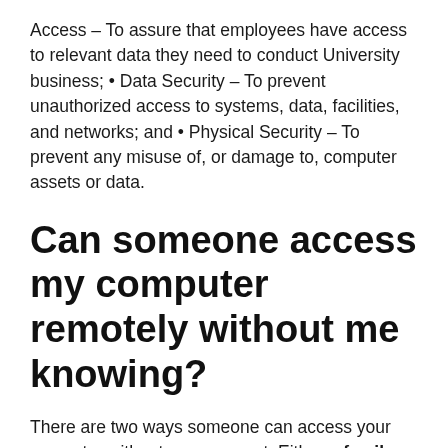Access – To assure that employees have access to relevant data they need to conduct University business; • Data Security – To prevent unauthorized access to systems, data, facilities, and networks; and • Physical Security – To prevent any misuse of, or damage to, computer assets or data.
Can someone access my computer remotely without me knowing?
There are two ways someone can access your computer without your consent. Either a family member or work college is physically logging in to your computer or phone when you are not around, or someone